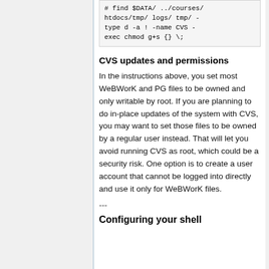# find $DATA/ ../courses/ htdocs/tmp/ logs/ tmp/ -type d -a ! -name CVS -exec chmod g+s {} \;
CVS updates and permissions
In the instructions above, you set most WeBWorK and PG files to be owned and only writable by root. If you are planning to do in-place updates of the system with CVS, you may want to set those files to be owned by a regular user instead. That will let you avoid running CVS as root, which could be a security risk. One option is to create a user account that cannot be logged into directly and use it only for WeBWorK files.
---
Configuring your shell